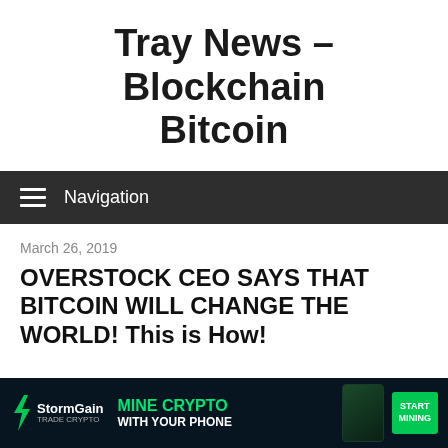Tray News – Blockchain Bitcoin
Navigation
March 26, 2019
OVERSTOCK CEO SAYS THAT BITCOIN WILL CHANGE THE WORLD! This is How!
[Figure (screenshot): StormGain advertisement banner: 'MINE CRYPTO WITH YOUR PHONE' with Start Mining CTA button]